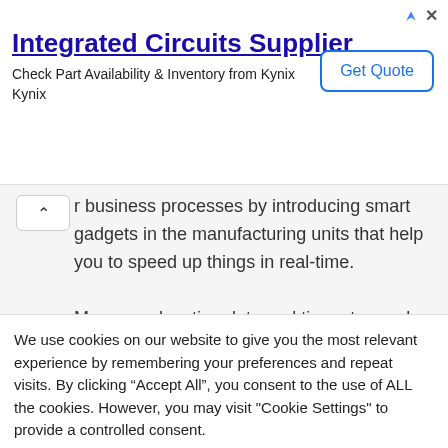[Figure (screenshot): Advertisement banner for 'Integrated Circuits Supplier' by Kynix, with a 'Get Quote' button, ad icons (arrow and X) in top right.]
r business processes by introducing smart gadgets in the manufacturing units that help you to speed up things in real-time.

Moreover, location data and time-stamped offers great control and visibility. That way, the products don't get in the way of being accountable.
We use cookies on our website to give you the most relevant experience by remembering your preferences and repeat visits. By clicking "Accept All", you consent to the use of ALL the cookies. However, you may visit "Cookie Settings" to provide a controlled consent.
Cookie Settings    Accept All